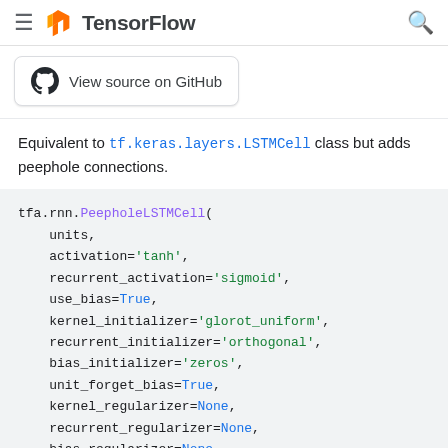TensorFlow
[Figure (logo): View source on GitHub button with GitHub logo]
Equivalent to tf.keras.layers.LSTMCell class but adds peephole connections.
tfa.rnn.PeepholeLSTMCell(
    units,
    activation='tanh',
    recurrent_activation='sigmoid',
    use_bias=True,
    kernel_initializer='glorot_uniform',
    recurrent_initializer='orthogonal',
    bias_initializer='zeros',
    unit_forget_bias=True,
    kernel_regularizer=None,
    recurrent_regularizer=None,
    bias_regularizer=None,